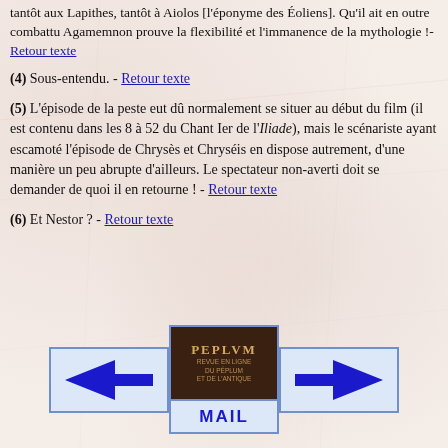tantôt aux Lapithes, tantôt à Aiolos [l'éponyme des Éoliens]. Qu'il ait en outre combattu Agamemnon prouve la flexibilité et l'immanence de la mythologie !- Retour texte
(4) Sous-entendu. - Retour texte
(5) L'épisode de la peste eut dû normalement se situer au début du film (il est contenu dans les 8 à 52 du Chant Ier de l'Iliade), mais le scénariste ayant escamoté l'épisode de Chrysès et Chryséis en dispose autrement, d'une manière un peu abrupte d'ailleurs. Le spectateur non-averti doit se demander de quoi il en retourne ! - Retour texte
(6) Et Nestor ? - Retour texte
[Figure (illustration): Navigation bar with left arrow button, center PEPLUM logo with MAIL label below, and right arrow button]